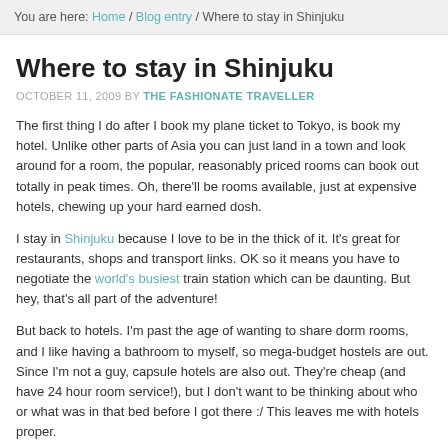You are here: Home / Blog entry / Where to stay in Shinjuku
Where to stay in Shinjuku
OCTOBER 11, 2009 BY THE FASHIONATE TRAVELLER
The first thing I do after I book my plane ticket to Tokyo, is book my hotel. Unlike other parts of Asia you can just land in a town and look around for a room, the popular, reasonably priced rooms can book out totally in peak times. Oh, there'll be rooms available, just at expensive hotels, chewing up your hard earned dosh.
I stay in Shinjuku because I love to be in the thick of it. It's great for restaurants, shops and transport links. OK so it means you have to negotiate the world's busiest train station which can be daunting. But hey, that's all part of the adventure!
But back to hotels. I'm past the age of wanting to share dorm rooms, and I like having a bathroom to myself, so mega-budget hostels are out. Since I'm not a guy, capsule hotels are also out. They're cheap (and have 24 hour room service!), but I don't want to be thinking about who or what was in that bed before I got there :/ This leaves me with hotels proper.
1. Hotel Kent